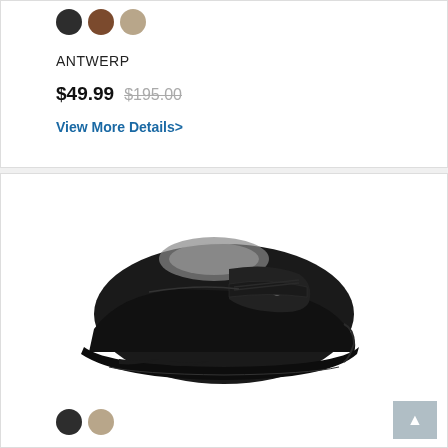[Figure (other): Three color swatches: dark charcoal/black, brown, and tan/beige circles]
ANTWERP
$49.99  $195.00
View More Details>
[Figure (photo): Black slip-on shoe with velcro strap and small metal button detail, shown from a 3/4 angle on white background]
[Figure (other): Two color swatches: dark charcoal/black and tan/beige circles]